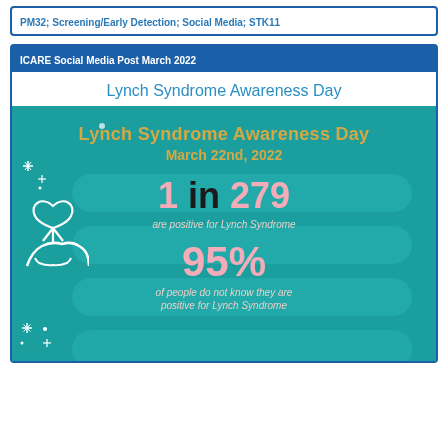PM32; Screening/Early Detection; Social Media; STK11
ICARE Social Media Post March 2022
Lynch Syndrome Awareness Day
[Figure (infographic): Teal infographic for Lynch Syndrome Awareness Day March 22nd, 2022. States '1 in 279 are positive for Lynch Syndrome' and '95% of people do not know they are positive for Lynch Syndrome'. Features a ribbon held in hands icon and decorative snake/winding path design with sparkles.]